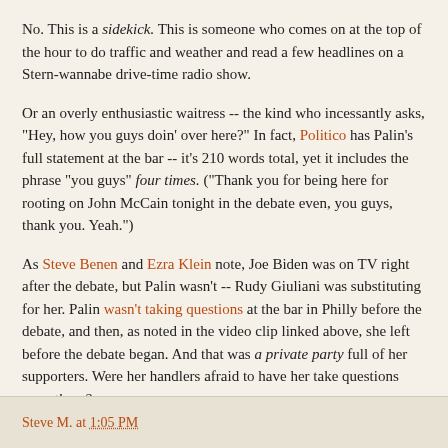No. This is a sidekick. This is someone who comes on at the top of the hour to do traffic and weather and read a few headlines on a Stern-wannabe drive-time radio show.
Or an overly enthusiastic waitress -- the kind who incessantly asks, "Hey, how you guys doin' over here?" In fact, Politico has Palin's full statement at the bar -- it's 210 words total, yet it includes the phrase "you guys" four times. ("Thank you for being here for rooting on John McCain tonight in the debate even, you guys, thank you. Yeah.")
As Steve Benen and Ezra Klein note, Joe Biden was on TV right after the debate, but Palin wasn't -- Rudy Giuliani was substituting for her. Palin wasn't taking questions at the bar in Philly before the debate, and then, as noted in the video clip linked above, she left before the debate began. And that was a private party full of her supporters. Were her handlers afraid to have her take questions even there?
Steve M. at 1:05 PM